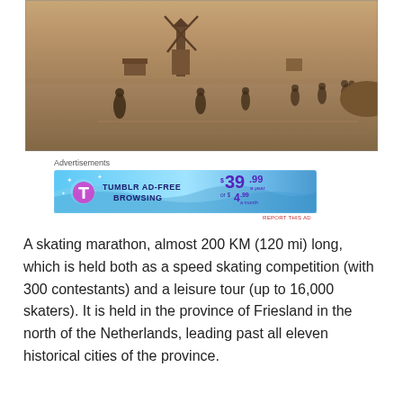[Figure (photo): Sepia-toned historical photograph of people ice skating on a frozen body of water with a windmill in the background]
Advertisements
[Figure (screenshot): Tumblr Ad-Free Browsing advertisement banner showing $39.99 a year or $4.99 a month pricing with a purple T logo on blue gradient background]
A skating marathon, almost 200 KM (120 mi) long, which is held both as a speed skating competition (with 300 contestants) and a leisure tour (up to 16,000 skaters). It is held in the province of Friesland in the north of the Netherlands, leading past all eleven historical cities of the province.